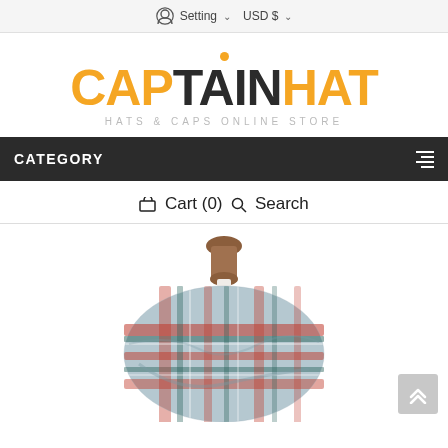Setting USD $
[Figure (logo): CaptainHat logo - HATS & CAPS ONLINE STORE]
CATEGORY
Cart (0) Search
[Figure (photo): A plaid tartan scarf/blanket wrap displayed on a mannequin stand with a wooden top]